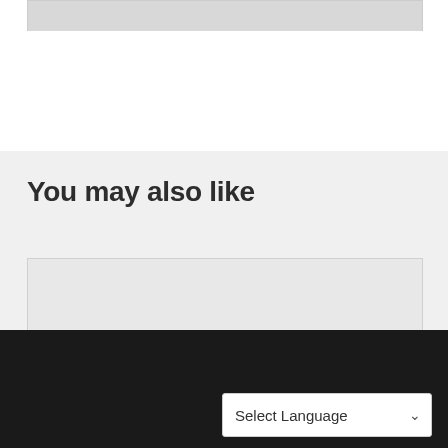[Figure (photo): Partial view of an image at the top of the page, shown as a gray placeholder strip]
You may also like
[Figure (photo): Card with gray image placeholder area at top and article title 'Workplace wellness help curb' partially visible]
We use cookies to ensure that we give you the best experience on our website. If you continue to use this site we will assume that you give your consent for this.
Ok  Read
Select Language